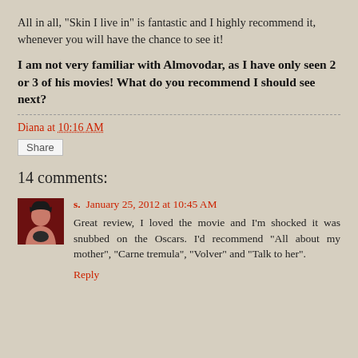All in all, "Skin I live in" is fantastic and I highly recommend it, whenever you will have the chance to see it!
I am not very familiar with Almovodar, as I have only seen 2 or 3 of his movies! What do you recommend I should see next?
Diana at 10:16 AM
Share
14 comments:
s.  January 25, 2012 at 10:45 AM
Great review, I loved the movie and I'm shocked it was snubbed on the Oscars. I'd recommend "All about my mother", "Carne tremula", "Volver" and "Talk to her".
Reply